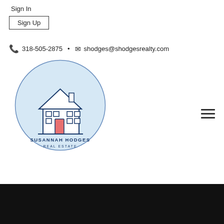Sign In
Sign Up
318-505-2875 • shodges@shodgesrealty.com
[Figure (logo): Susannah Hodges Real Estate circular logo with a blue house illustration on a light blue background, text reads SUSANNAH HODGES REAL ESTATE]
[Figure (other): Hamburger menu icon (three horizontal lines)]
[Figure (photo): Black rectangular image at the bottom of the page]